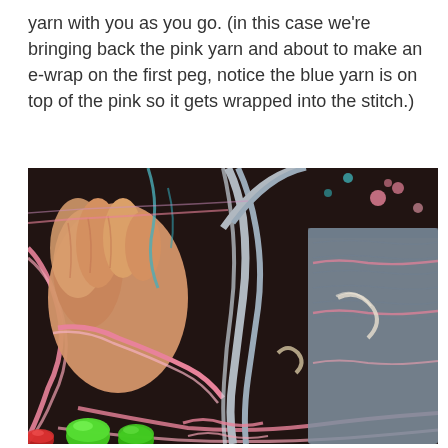yarn with you as you go. (in this case we're bringing back the pink yarn and about to make an e-wrap on the first peg, notice the blue yarn is on top of the pink so it gets wrapped into the stitch.)
[Figure (photo): Close-up photo of a hand holding loom knitting pegs, showing pink yarn being brought back on the loom with blue and gray yarn visible, green pegs visible at the bottom.]